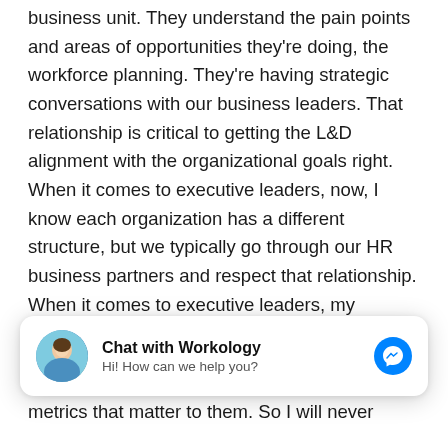business unit. They understand the pain points and areas of opportunities they're doing, the workforce planning. They're having strategic conversations with our business leaders. That relationship is critical to getting the L&D alignment with the organizational goals right. When it comes to executive leaders, now, I know each organization has a different structure, but we typically go through our HR business partners and respect that relationship. When it comes to executive leaders, my experience has been the alignment that
[Figure (screenshot): Chat widget popup: avatar photo of a woman, bold title 'Chat with Workology', subtitle 'Hi! How can we help you?', and a blue Messenger icon on the right.]
metrics that matter to them. So I will never